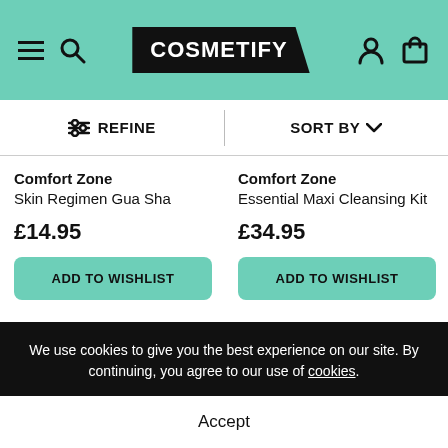COSMETIFY
REFINE | SORT BY
Comfort Zone Skin Regimen Gua Sha £14.95
Comfort Zone Essential Maxi Cleansing Kit £34.95
We use cookies to give you the best experience on our site. By continuing, you agree to our use of cookies.
Accept